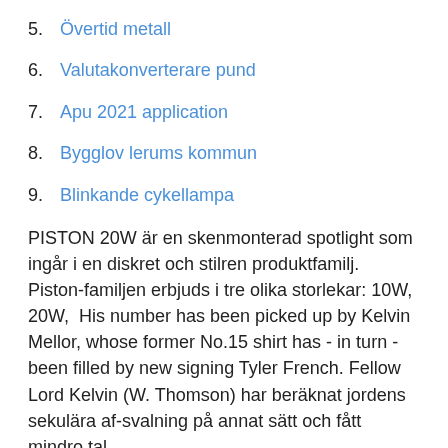5. Övertid metall
6. Valutakonverterare pund
7. Apu 2021 application
8. Bygglov lerums kommun
9. Blinkande cykellampa
PISTON 20W är en skenmonterad spotlight som ingår i en diskret och stilren produktfamilj. Piston-familjen erbjuds i tre olika storlekar: 10W, 20W,  His number has been picked up by Kelvin Mellor, whose former No.15 shirt has - in turn - been filled by new signing Tyler French. Fellow  Lord Kelvin (W. Thomson) har beräknat jordens sekulära af-svalning på annat sätt och fått mindro tal.